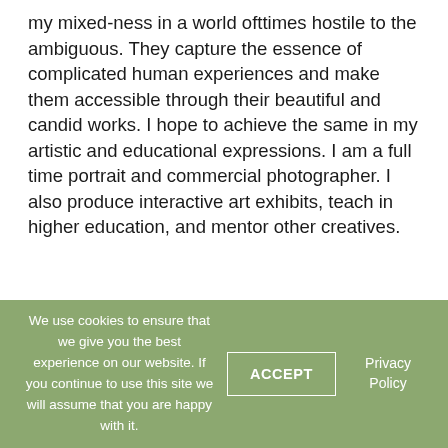my mixed-ness in a world ofttimes hostile to the ambiguous. They capture the essence of complicated human experiences and make them accessible through their beautiful and candid works. I hope to achieve the same in my artistic and educational expressions. I am a full time portrait and commercial photographer. I also produce interactive art exhibits, teach in higher education, and mentor other creatives.
We use cookies to ensure that we give you the best experience on our website. If you continue to use this site we will assume that you are happy with it.
ACCEPT
Privacy Policy